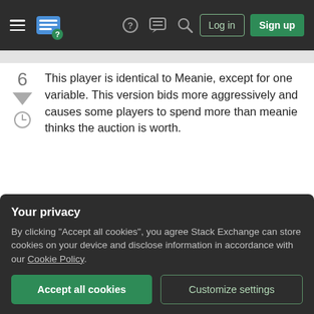Stack Exchange navigation bar with Log in and Sign up buttons
6  This player is identical to Meanie, except for one variable. This version bids more aggressively and causes some players to spend more than meanie thinks the auction is worth.
[Figure (screenshot): Python code block showing class eenie_meanie_more with __init__ method setting self.money = [0] * 4, self.rounds = 11, self.total_spent = 0]
Your privacy
By clicking "Accept all cookies", you agree Stack Exchange can store cookies on your device and disclose information in accordance with our Cookie Policy.
Accept all cookies  |  Customize settings
bid = int((20000 - self.total_s